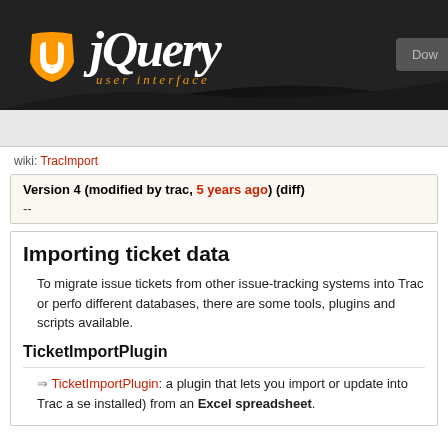[Figure (logo): jQuery User Interface logo with orange shield icon and white italic jQuery text, 'user interface' in orange italic below]
wiki: TracImport
Version 4 (modified by trac, 5 years ago) (diff)
--
Importing ticket data
To migrate issue tickets from other issue-tracking systems into Trac or perform migrations between different databases, there are some tools, plugins and scripts available.
TicketImportPlugin
⇒ TicketImportPlugin: a plugin that lets you import or update into Trac a series of tickets (if installed) from an Excel spreadsheet.